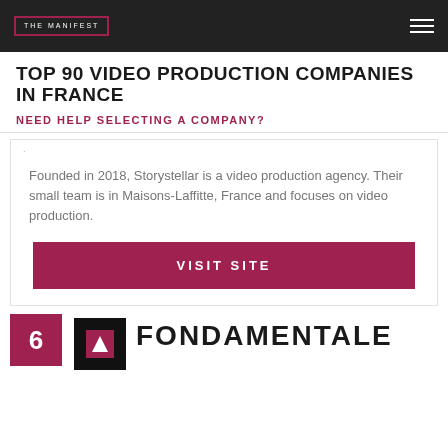THE MANIFEST
TOP 90 VIDEO PRODUCTION COMPANIES IN FRANCE
NEED HELP SELECTING A COMPANY?
Founded in 2018, Storystellar is a video production agency. Their small team is in Maisons-Laffitte, France and focuses on video production.
VISIT SITE
6
FONDAMENTALE